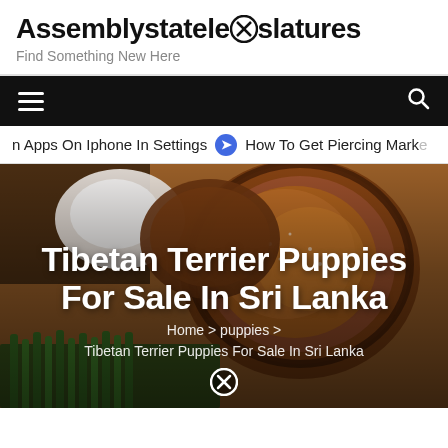Assemblystatelegislatures
Find Something New Here
n Apps On Iphone In Settings   ➤ How To Get Piercing Marke
Tibetan Terrier Puppies For Sale In Sri Lanka
Home > puppies > Tibetan Terrier Puppies For Sale In Sri Lanka